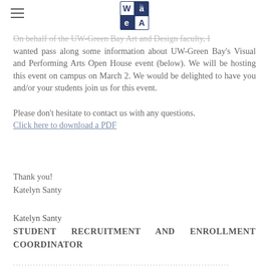[Logo: WaeA / Wisconsin Art Education Association]
On behalf of the UW-Green Bay Art and Design faculty, I wanted pass along some information about UW-Green Bay's Visual and Performing Arts Open House event (below). We will be hosting this event on campus on March 2. We would be delighted to have you and/or your students join us for this event.

Please don't hesitate to contact us with any questions.
Click here to download a PDF
Thank you!
Katelyn Santy
Katelyn Santy
STUDENT RECRUITMENT AND ENROLLMENT COORDINATOR
............................................................................